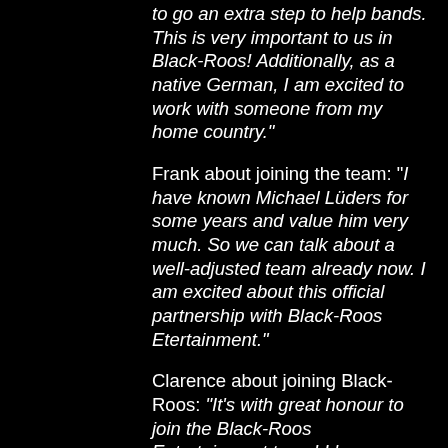to go an extra step to help bands. This is very important to us in Black-Roos! Additionally, as a native German, I am excited to work with someone from my home country."
Frank about joining the team: "I have known Michael Lüders for some years and value him very much. So we can talk about a well-adjusted team already now. I am excited about this official partnership with Black-Roos Etertainment."
Clarence about joining Black-Roos: "It's with great honour to join the Black-Roos Entertainment team! I have known Michael through his involvement in Metal United Worldwide in 2018. He's